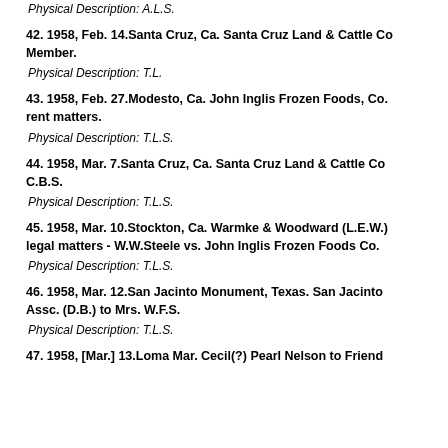Physical Description: A.L.S.
42. 1958, Feb. 14.Santa Cruz, Ca. Santa Cruz Land & Cattle Co. Member.
Physical Description: T.L.
43. 1958, Feb. 27.Modesto, Ca. John Inglis Frozen Foods, Co. rent matters.
Physical Description: T.L.S.
44. 1958, Mar. 7.Santa Cruz, Ca. Santa Cruz Land & Cattle Co. C.B.S.
Physical Description: T.L.S.
45. 1958, Mar. 10.Stockton, Ca. Warmke & Woodward (L.E.W.) legal matters - W.W.Steele vs. John Inglis Frozen Foods Co.
Physical Description: T.L.S.
46. 1958, Mar. 12.San Jacinto Monument, Texas. San Jacinto Assc. (D.B.) to Mrs. W.F.S.
Physical Description: T.L.S.
47. 1958, [Mar.] 13.Loma Mar. Cecil(?) Pearl Nelson to Friend